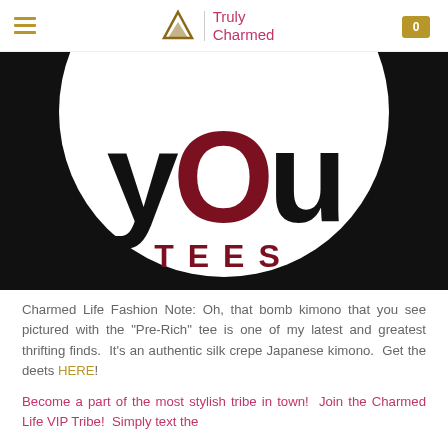Truly Charmed
[Figure (logo): YOU TEES logo on black background with white circle, large black stylized text 'yOU' with red O, and dark red 'TEES' text]
Charmed Life Fashion Note: Oh, that bomb kimono that you see pictured with the "Pre-Rich" tee is one of my latest and greatest thrifting finds. It's an authentic silk crepe Japanese kimono. Get the deets HERE!
Become a part of the most stylish tribe in town! Join the Charmed Life VIP Tribe! Simply text the